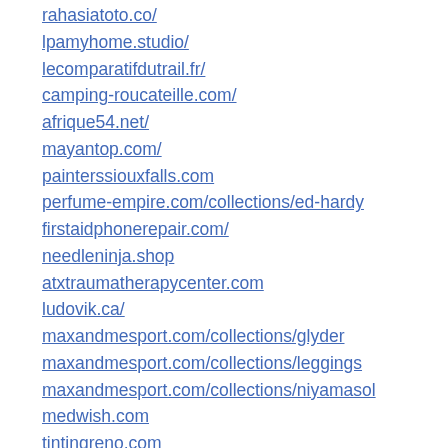rahasiatoto.co/
lpamyhome.studio/
lecomparatifdutrail.fr/
camping-roucateille.com/
afrique54.net/
mayantop.com/
painterssiouxfalls.com
perfume-empire.com/collections/ed-hardy
firstaidphonerepair.com/
needleninja.shop
atxtraumatherapycenter.com
ludovik.ca/
maxandmesport.com/collections/glyder
maxandmesport.com/collections/leggings
maxandmesport.com/collections/niyamasol
medwish.com
tintingreno.com
bitnewsbot.com
renwerks.com